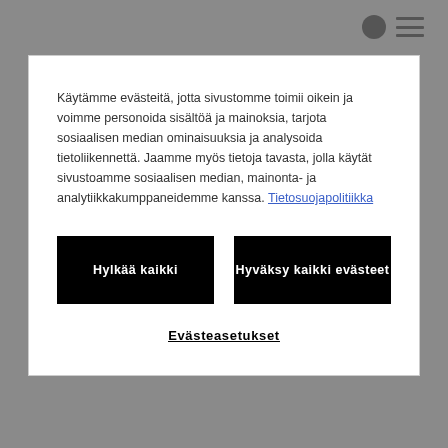Käytämme evästeitä, jotta sivustomme toimii oikein ja voimme personoida sisältöä ja mainoksia, tarjota sosiaalisen median ominaisuuksia ja analysoida tietoliikennettä. Jaamme myös tietoja tavasta, jolla käytät sivustoamme sosiaalisen median, mainonta- ja analytiikkakumppaneidemme kanssa. Tietosuojapolitiikka
Hylkää kaikki
Hyväksy kaikki evästeet
Evästeasetukset